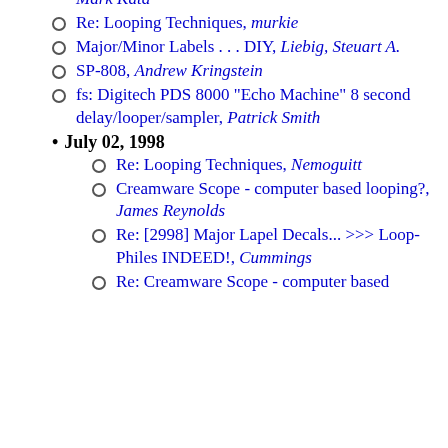Looping Techniques, Mark Kata
Re: Looping Techniques, murkie
Major/Minor Labels . . . DIY, Liebig, Steuart A.
SP-808, Andrew Kringstein
fs: Digitech PDS 8000 "Echo Machine" 8 second delay/looper/sampler, Patrick Smith
July 02, 1998
Re: Looping Techniques, Nemoguitt
Creamware Scope - computer based looping?, James Reynolds
Re: [2998] Major Lapel Decals... >>> Loop-Philes INDEED!, Cummings
Re: Creamware Scope - computer based